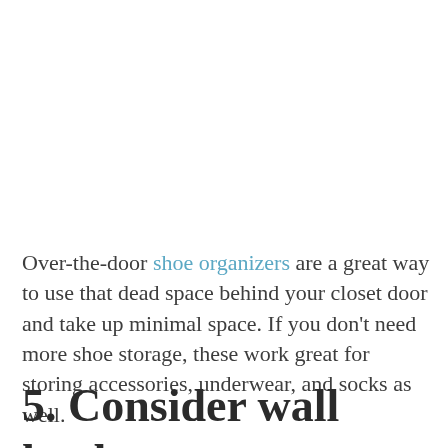Over-the-door shoe organizers are a great way to use that dead space behind your closet door and take up minimal space. If you don't need more shoe storage, these work great for storing accessories, underwear, and socks as well.
5. Consider wall hooks or